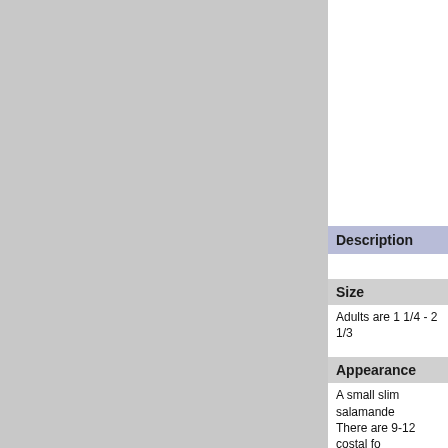[Figure (photo): Gray placeholder area occupying the left portion and top-right white area of the page, likely representing an image of a salamander]
Description
Size
Adults are 1 1/4 - 2 1/3
Appearance
A small slim salamande... There are 9-12 costal fo... A narrow head, long sle... Salamanders, however
There are four toes on t